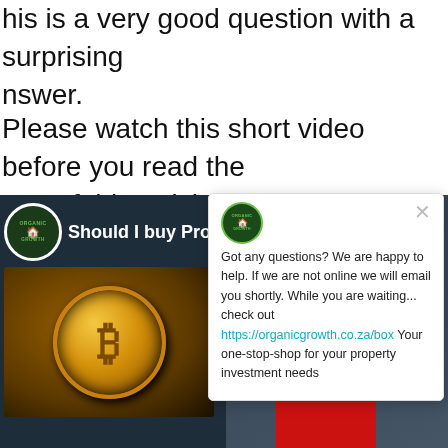his is a very good question with a surprising nswer.
Please watch this short video before you read the rest of this article.
[Figure (screenshot): Video thumbnail showing 'Should I buy Prope...' with Organic Growth branding, a bitcoin coin image on the left, and a man in a red shirt on the right, with a red banner at the bottom reading 'Should I buy Bitcoin or Propert']
[Figure (screenshot): Chat popup overlay with Organic Growth logo, close X button, and text: 'Got any questions? We are happy to help. If we are not online we will email you shortly. While you are waiting... check out https://organicgrowth.co.za/box Your one-stop-shop for your property investment needs']